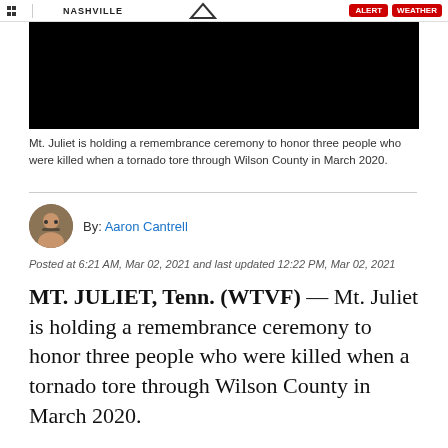NASHVILLE
[Figure (photo): Black video thumbnail/player area]
Mt. Juliet is holding a remembrance ceremony to honor three people who were killed when a tornado tore through Wilson County in March 2020.
By: Aaron Cantrell
Posted at 6:21 AM, Mar 02, 2021 and last updated 12:22 PM, Mar 02, 2021
MT. JULIET, Tenn. (WTVF)  — Mt. Juliet is holding a remembrance ceremony to honor three people who were killed when a tornado tore through Wilson County in March 2020.